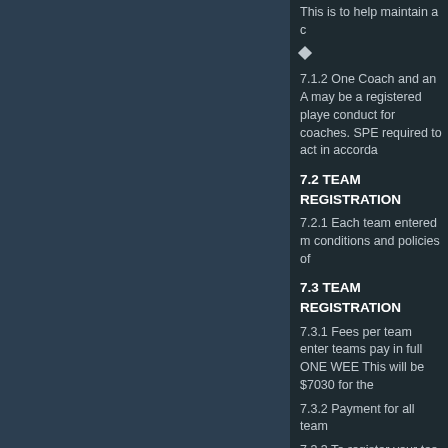This is to help maintain a c
7.1.2 One Coach and an A may be a registered playe conduct for coaches. SPE required to act in accorda
7.2 TEAM REGISTRATION
7.2.1 Each team entered m conditions and policies of
7.3 TEAM REGISTRATION
7.3.1 Fees per team enter teams pay in full ONE WEE This will be $7030 for the
7.3.2 Payment for all team
7.3.3 To register your tea final balance will be requi
Account Details – Hang Se
7.3.4 - Team Bond Payment rescheduling purposes. Tea